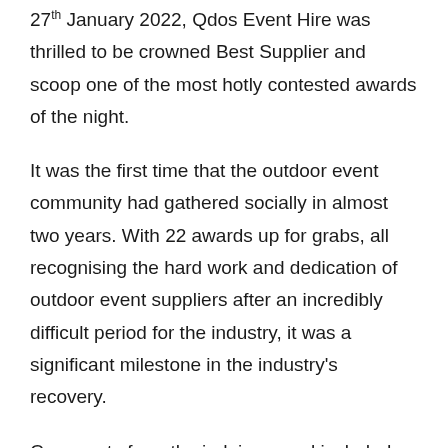27th January 2022, Qdos Event Hire was thrilled to be crowned Best Supplier and scoop one of the most hotly contested awards of the night.
It was the first time that the outdoor event community had gathered socially in almost two years. With 22 awards up for grabs, all recognising the hard work and dedication of outdoor event suppliers after an incredibly difficult period for the industry, it was a significant milestone in the industry's recovery.
Comments from the judging panel included: “Qdos clearly has the ability to respond efficiently to a detailed client brief even in the most challenging of circumstances. And, delivering at scale during the pandemic in challenging circumstances will have